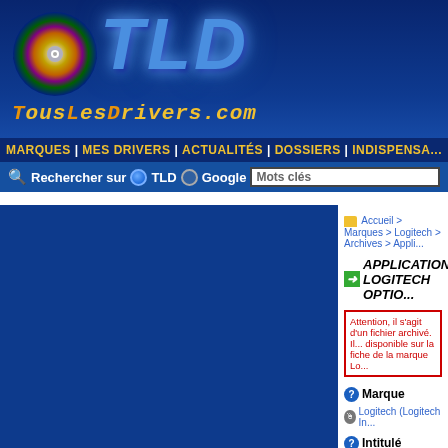[Figure (logo): TousLesDrivers.com website header with TLD logo, CD disc icon, and site name in orange/yellow italic monospace font on dark blue gradient background]
MARQUES | MES DRIVERS | ACTUALITÉS | DOSSIERS | INDISPENSA...
Rechercher sur  TLD  Google  Mots clés
Accueil > Marques > Logitech > Archives > Appli...
APPLICATION LOGITECH OPTIO...
Attention, il s'agit d'un fichier archivé. Il... disponible sur la fiche de la marque Lo...
Marque
Logitech (Logitech In...
Intitulé
Options